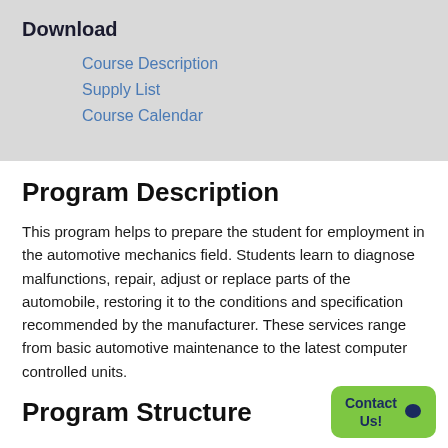Download
Course Description
Supply List
Course Calendar
Program Description
This program helps to prepare the student for employment in the automotive mechanics field. Students learn to diagnose malfunctions, repair, adjust or replace parts of the automobile, restoring it to the conditions and specification recommended by the manufacturer. These services range from basic automotive maintenance to the latest computer controlled units.
Program Structure